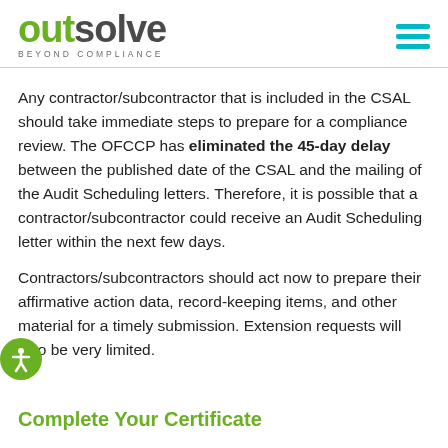[Figure (logo): OutSolve logo with tagline 'BEYOND COMPLIANCE' and hamburger menu icon in teal]
Any contractor/subcontractor that is included in the CSAL should take immediate steps to prepare for a compliance review. The OFCCP has eliminated the 45-day delay between the published date of the CSAL and the mailing of the Audit Scheduling letters. Therefore, it is possible that a contractor/subcontractor could receive an Audit Scheduling letter within the next few days.
Contractors/subcontractors should act now to prepare their affirmative action data, record-keeping items, and other material for a timely submission. Extension requests will also be very limited.
Complete Your Certificate